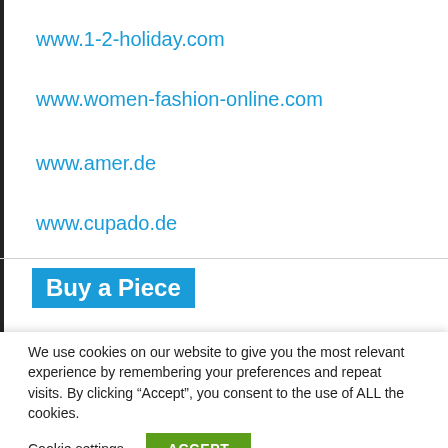www.1-2-holiday.com
www.women-fashion-online.com
www.amer.de
www.cupado.de
Buy a Piece
We use cookies on our website to give you the most relevant experience by remembering your preferences and repeat visits. By clicking “Accept”, you consent to the use of ALL the cookies.
Cookie settings   ACCEPT